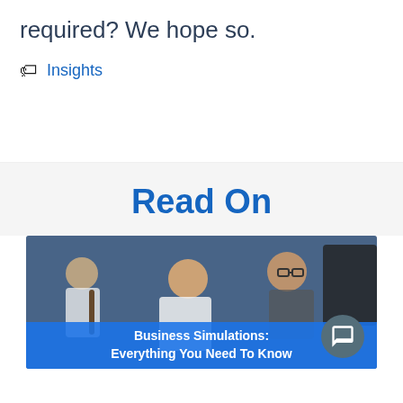required? We hope so.
Insights
Read On
[Figure (photo): Group of smiling people at a computer screen, partially overlaid with a blue banner reading 'Business Simulations: Everything You Need To Know']
Business Simulations: Everything You Need To Know